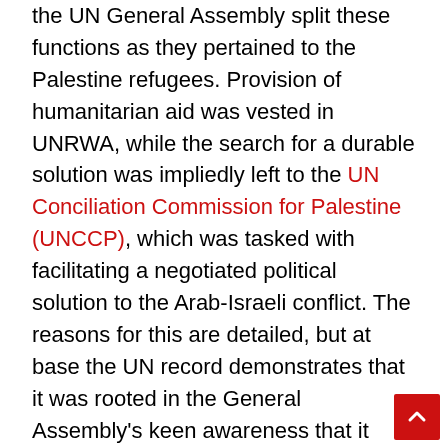the UN General Assembly split these functions as they pertained to the Palestine refugees. Provision of humanitarian aid was vested in UNRWA, while the search for a durable solution was impliedly left to the UN Conciliation Commission for Palestine (UNCCP), which was tasked with facilitating a negotiated political solution to the Arab-Israeli conflict. The reasons for this are detailed, but at base the UN record demonstrates that it was rooted in the General Assembly's keen awareness that it played a pivotal part in the unmaking of Palestine and the creation of the Palestine refugee problem through its mishandling of the end of the Palestine mandate and its attempted partition of the country against the express wishes of its indigenous majority population in 1947. At the